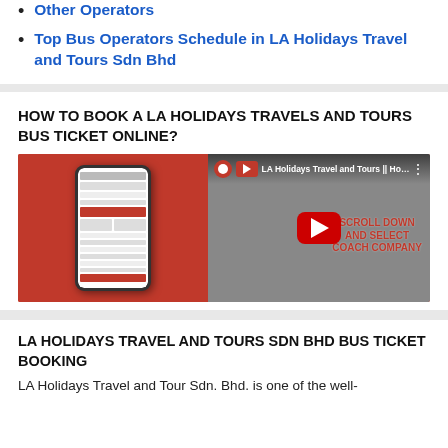Other Operators
Top Bus Operators Schedule in LA Holidays Travel and Tours Sdn Bhd
HOW TO BOOK A LA HOLIDAYS TRAVELS AND TOURS BUS TICKET ONLINE?
[Figure (screenshot): YouTube video thumbnail showing LA Holidays Travel and Tours how-to video with phone mockup on red background and play button. Text overlay: SCROLL DOWN AND SELECT COACH COMPANY]
LA HOLIDAYS TRAVEL AND TOURS SDN BHD BUS TICKET BOOKING
LA Holidays Travel and Tour Sdn. Bhd. is one of the well-